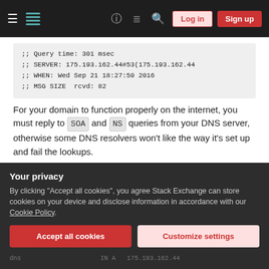Stack Exchange navigation bar with Log in and Sign up buttons
;; Query time: 301 msec
;; SERVER: 175.193.162.44#53(175.193.162.44
;; WHEN: Wed Sep 21 18:27:50 2016
;; MSG SIZE  rcvd: 82
For your domain to function properly on the internet, you must reply to SOA and NS queries from your DNS server, otherwise some DNS resolvers won't like the way it's set up and fail the lookups.
Proper SOA and NS records would look something like...
Your privacy
By clicking "Accept all cookies", you agree Stack Exchange can store cookies on your device and disclose information in accordance with our Cookie Policy.
Accept all cookies
Customize settings
dns                     IN A   175.193.162.44